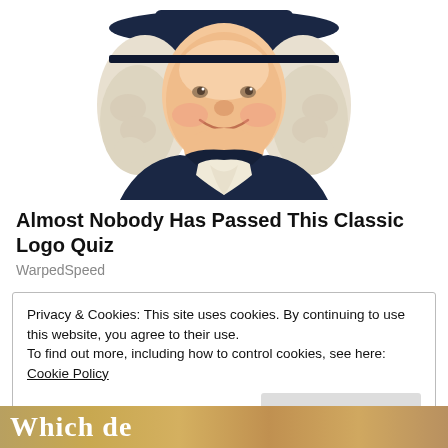[Figure (illustration): Illustrated Quaker Oats man mascot: a smiling man with white curly wig, dark blue colonial coat with white cravat, wearing a wide-brimmed dark hat, shown from the chest up on white background]
Almost Nobody Has Passed This Classic Logo Quiz
WarpedSpeed
Privacy & Cookies: This site uses cookies. By continuing to use this website, you agree to their use.
To find out more, including how to control cookies, see here: Cookie Policy
Close and accept
[Figure (photo): Partial bottom strip showing colorful image with text beginning 'Which de...']